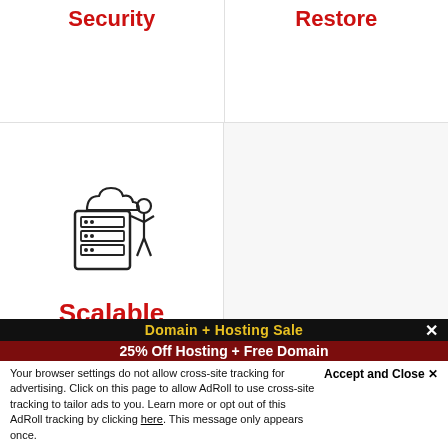Security
Restore
[Figure (illustration): Line art icon of a server rack with a person and cloud above it, representing scalable cloud hosting]
Scalable
Why Private Cloud is the best?
AEserver's Private Cloud is an upgraded
Domain + Hosting Sale
25% Off Hosting + Free Domain
Accept and Close ✕
Your browser settings do not allow cross-site tracking for advertising. Click on this page to allow AdRoll to use cross-site tracking to tailor ads to you. Learn more or opt out of this AdRoll tracking by clicking here. This message only appears once.